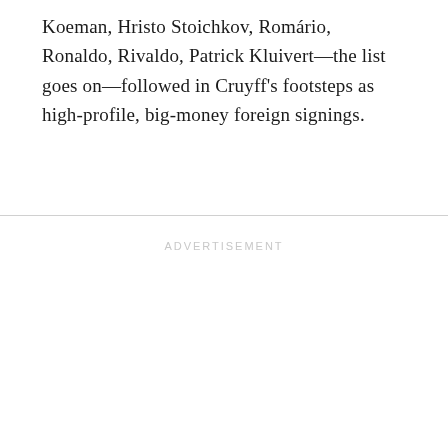Koeman, Hristo Stoichkov, Romário, Ronaldo, Rivaldo, Patrick Kluivert—the list goes on—followed in Cruyff's footsteps as high-profile, big-money foreign signings.
ADVERTISEMENT